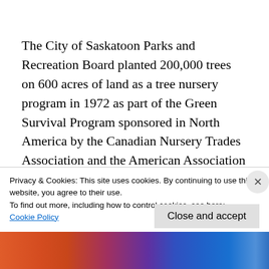The City of Saskatoon Parks and Recreation Board planted 200,000 trees on 600 acres of land as a tree nursery program in 1972 as part of the Green Survival Program sponsored in North America by the Canadian Nursery Trades Association and the American Association of Nurserymen. In total 255 acres of afforestation
Privacy & Cookies: This site uses cookies. By continuing to use this website, you agree to their use.
To find out more, including how to control cookies, see here:
Cookie Policy
Close and accept